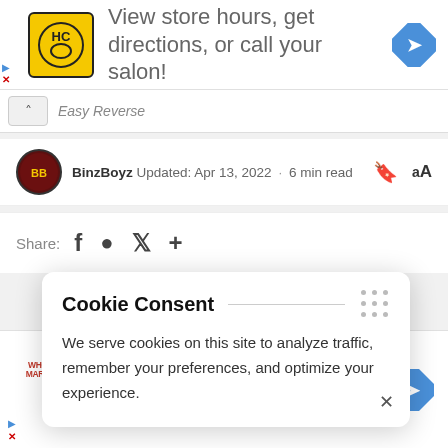[Figure (screenshot): Top advertisement banner for HC (Hair Club) showing logo, text 'View store hours, get directions, or call your salon!' and a blue navigation arrow icon]
Easy Reverse
BinzBoyz  Updated: Apr 13, 2022  ·  6 min read
Share:
Cookie Consent
We serve cookies on this site to analyze traffic, remember your preferences, and optimize your experience.
[Figure (screenshot): Bottom advertisement for Whole Market showing checkmarks for In-store shopping, Curbside pickup, Delivery with a blue navigation arrow icon]